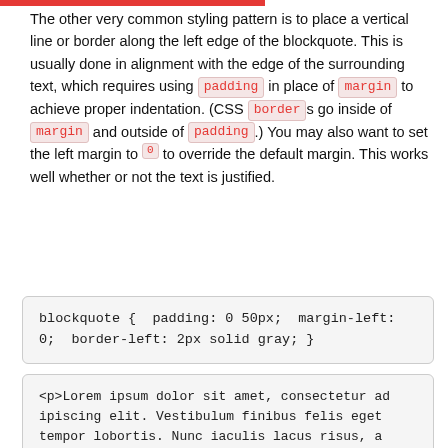The other very common styling pattern is to place a vertical line or border along the left edge of the blockquote. This is usually done in alignment with the edge of the surrounding text, which requires using padding in place of margin to achieve proper indentation. (CSS borders go inside of margin and outside of padding.) You may also want to set the left margin to 0 to override the default margin. This works well whether or not the text is justified.
blockquote {  padding: 0 50px;  margin-left: 0;  border-left: 2px solid gray; }
<p>Lorem ipsum dolor sit amet, consectetur ad ipiscing elit. Vestibulum finibus felis eget tempor lobortis. Nunc iaculis lacus risus, a molestie libero facilisis sit amet. Proin vit ae diam non leo commodo ullamcorper euismod v el lacus. Morbi iaculis tincidunt enim. Nunc semper facilisis elit, quis pulvinar sem effi